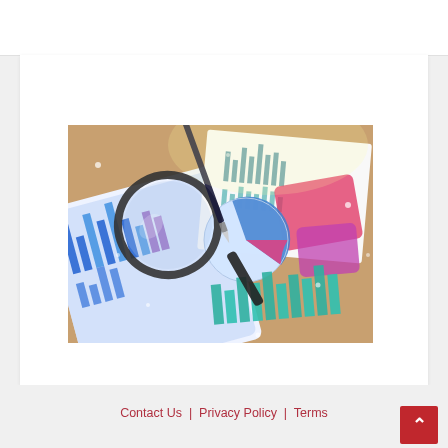[Figure (photo): Photo of financial charts and graphs on paper documents laid on a wooden desk, with a magnifying glass and pen on top of a tablet device showing bar charts and a pie chart. Various colorful bar charts and pie charts are visible in the background.]
Contact Us  |  Privacy Policy  |  Terms